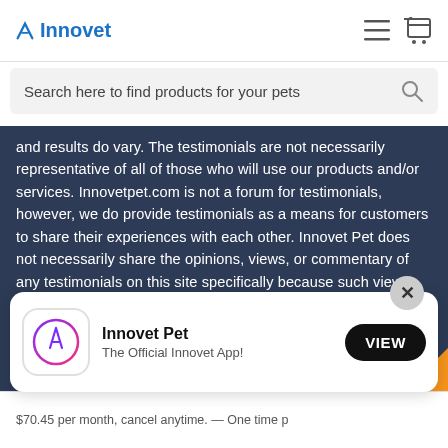Innovet
Search here to find products for your pets
and results do vary. The testimonials are not necessarily representative of all of those who will use our products and/or services. Innovetpet.com is not a forum for testimonials, however, we do provide testimonials as a means for customers to share their experiences with each other. Innovet Pet does not necessarily share the opinions, views, or commentary of any testimonials on this site specifically because such views are strictly the views of the reviewer. Additionally, these testimonials are not intended to make or imply claims that these products can be used to diagnose, treat, cure, mitigate, or
[Figure (screenshot): App install banner showing Innovet Pet app icon, name 'Innovet Pet', subtitle 'The Official Innovet App!', and a VIEW button]
$70.45 per month, cancel anytime. — One time p